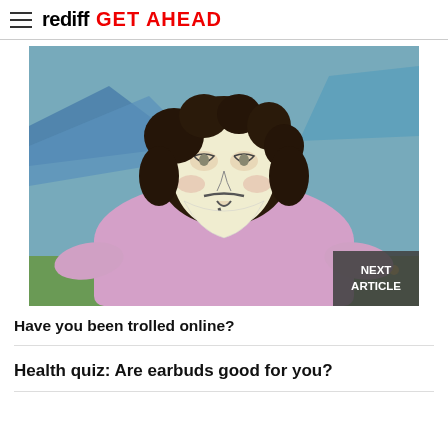rediff GET AHEAD
[Figure (photo): A person wearing a Guy Fawkes mask and a pink/lavender long-sleeve shirt, leaning over a laptop computer outdoors near tents, with a 'NEXT ARTICLE' button overlay in the bottom right corner.]
Have you been trolled online?
Health quiz: Are earbuds good for you?